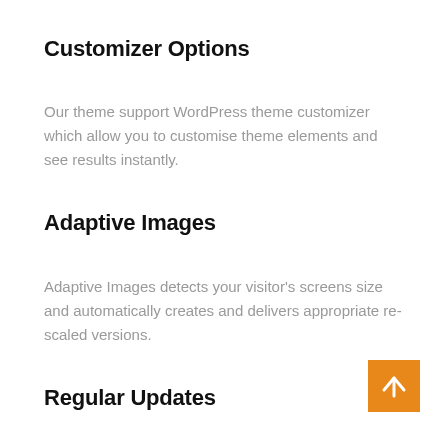Customizer Options
Our theme support WordPress theme customizer which allow you to customise theme elements and see results instantly.
Adaptive Images
Adaptive Images detects your visitor's screens size and automatically creates and delivers appropriate re-scaled versions.
Regular Updates
We release continued updates based on user-
[Figure (other): Orange back-to-top button with upward arrow icon]